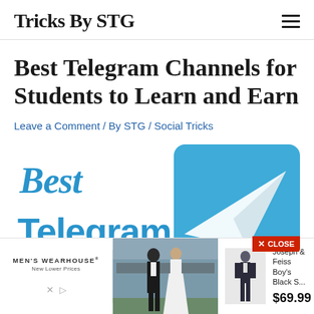Tricks By STG
Best Telegram Channels for Students to Learn and Earn
Leave a Comment / By STG / Social Tricks
[Figure (illustration): Article featured image showing 'Best Telegram' text with blue Telegram logo background and a paper plane icon. A red CLOSE button is visible in the bottom right corner.]
[Figure (photo): Men's Wearhouse advertisement banner showing a couple in formal wear, a boy's black suit product image, product name 'Joseph & Feiss Boy's Black S...' priced at $69.99. Includes Men's Wearhouse logo with 'New Lower Prices' tagline.]